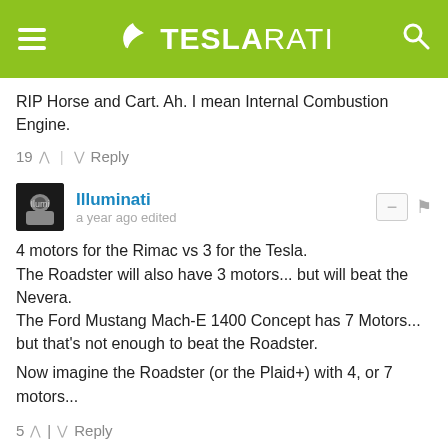TESLARATI
RIP Horse and Cart. Ah. I mean Internal Combustion Engine.
19 ^ | v Reply
Illuminati • a year ago edited
4 motors for the Rimac vs 3 for the Tesla.
The Roadster will also have 3 motors... but will beat the Nevera.
The Ford Mustang Mach-E 1400 Concept has 7 Motors... but that's not enough to beat the Roadster.

Now imagine the Roadster (or the Plaid+) with 4, or 7 motors...
5 ^ | v Reply
Ska_Bli_Fri → Illuminati • a year ago
I think Tesla's 3 motors are strong enough. They just need to build a car that's not so heavy to